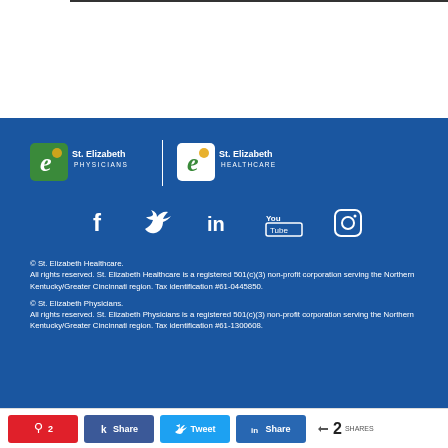[Figure (logo): St. Elizabeth Physicians and St. Elizabeth Healthcare logos side by side with white separator line on blue background]
[Figure (infographic): Social media icons: Facebook, Twitter, LinkedIn, YouTube, Instagram in white on blue background]
© St. Elizabeth Healthcare.
All rights reserved. St. Elizabeth Healthcare is a registered 501(c)(3) non-profit corporation serving the Northern Kentucky/Greater Cincinnati region. Tax identification #61-0445850.
© St. Elizabeth Physicians.
All rights reserved. St. Elizabeth Physicians is a registered 501(c)(3) non-profit corporation serving the Northern Kentucky/Greater Cincinnati region. Tax identification #61-1300608.
Pin 2 | Share | Tweet | Share | < 2 SHARES